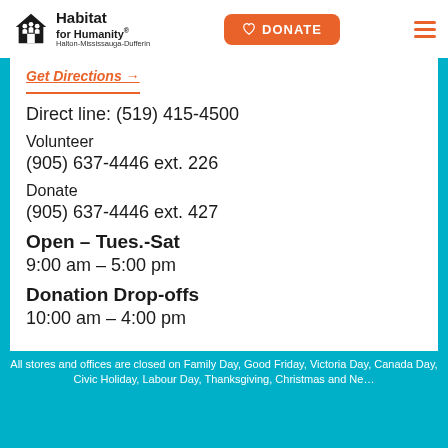Habitat for Humanity Halton-Mississauga-Dufferin | DONATE
Get Directions →
Direct line: (519) 415-4500
Volunteer
(905) 637-4446 ext. 226
Donate
(905) 637-4446 ext. 427
Open – Tues.-Sat
9:00 am – 5:00 pm
Donation Drop-offs
10:00 am – 4:00 pm
All stores and offices are closed on Family Day, Good Friday, Victoria Day, Canada Day, Civic Holiday, Labour Day, Thanksgiving, Christmas and Ne...